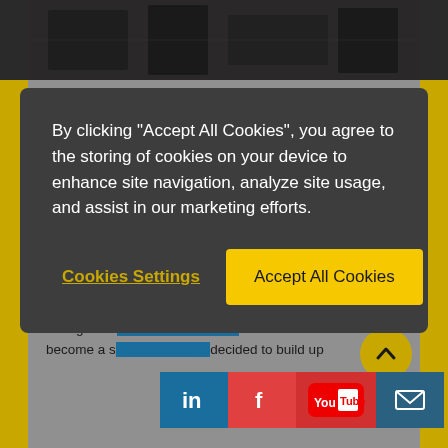[Figure (photo): Dark industrial/machinery photo at the top of the page]
By clicking “Accept All Cookies”, you agree to the storing of cookies on your device to enhance site navigation, analyze site usage, and assist in our marketing efforts.
Cookies Settings
Accept All Cookies
management. These measurement stations, incorporated in the manufacturing process in order to precisely verify and document the manufactured quality at defined intervals according to a measurement plan and using the proper measurement equipment, guarantee a very high level of quality.
But first you have to produce the quality. Michael Leibold “For economic production, precision turned parts and assemblies … are manufactured according to their geometric … never wanted to become a s… decided to build up